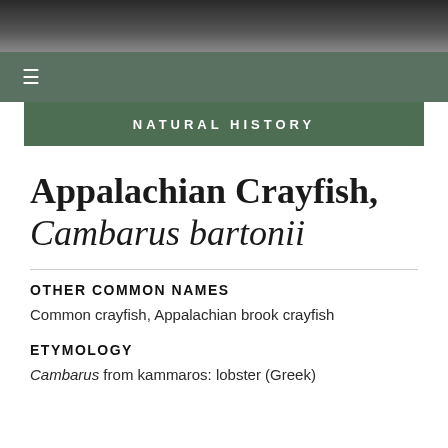NATURAL HISTORY
Appalachian Crayfish, Cambarus bartonii
OTHER COMMON NAMES
Common crayfish, Appalachian brook crayfish
ETYMOLOGY
Cambarus from kammaros: lobster (Greek)